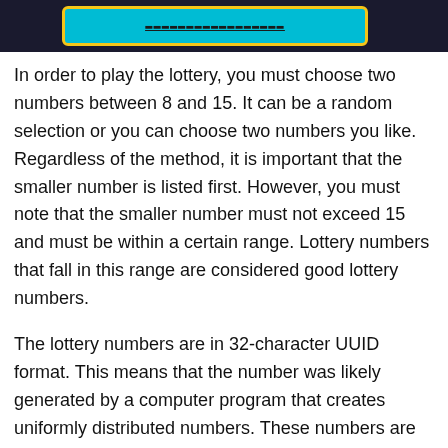[Figure (illustration): Banner with teal/cyan rounded rectangle containing underlined text on a dark navy background]
In order to play the lottery, you must choose two numbers between 8 and 15. It can be a random selection or you can choose two numbers you like. Regardless of the method, it is important that the smaller number is listed first. However, you must note that the smaller number must not exceed 15 and must be within a certain range. Lottery numbers that fall in this range are considered good lottery numbers.
The lottery numbers are in 32-character UUID format. This means that the number was likely generated by a computer program that creates uniformly distributed numbers. These numbers are then compared from left to right. This way, if you have a lower lottery number, your appointment time will be earlier than if you had a higher lottery number.